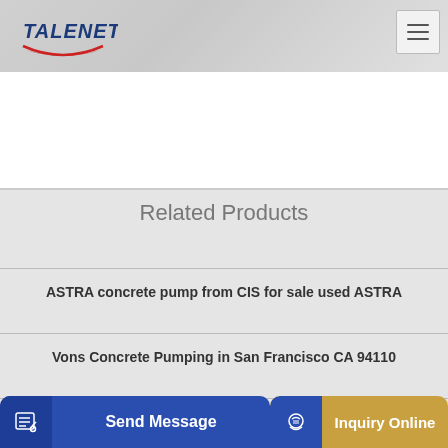[Figure (logo): Talenet company logo with red swoosh and blue italic text]
[Figure (other): Hamburger menu icon (three horizontal lines) in a box]
Related Products
ASTRA concrete pump from CIS for sale used ASTRA
Vons Concrete Pumping in San Francisco CA 94110
ant In
[Figure (other): Send Message button with edit icon]
[Figure (other): Inquiry Online button with headset icon]